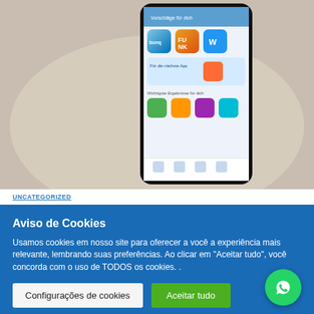[Figure (photo): Smartphone displaying Google Play Store app recommendations screen, placed on a light surface with soft background]
UNCATEGORIZED
Aviso de Cookies
Usamos cookies em nosso site para oferecer a você a experiência mais relevante, lembrando suas preferências. Ao clicar em "Aceitar tudo", você concorda com o uso de TODOS os cookies. .
Configurações de cookies
Aceitar tudo